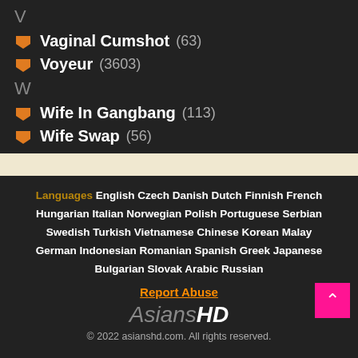V
Vaginal Cumshot (63)
Voyeur (3603)
W
Wife In Gangbang (113)
Wife Swap (56)
Languages  English  Czech  Danish  Dutch  Finnish  French  Hungarian  Italian  Norwegian  Polish  Portuguese  Serbian  Swedish  Turkish  Vietnamese  Chinese  Korean  Malay  German  Indonesian  Romanian  Spanish  Greek  Japanese  Bulgarian  Slovak  Arabic  Russian  Report Abuse  AsiansHD  © 2022 asianshd.com. All rights reserved.